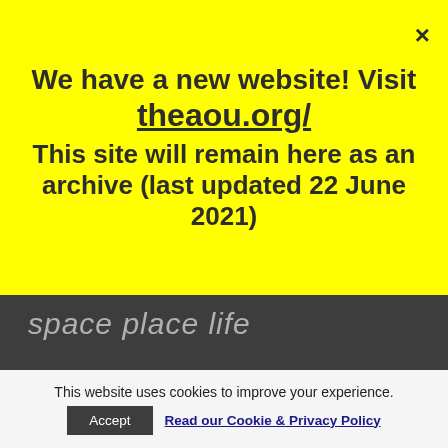We have a new website! Visit theaou.org/ This site will remain here as an archive (last updated 22 June 2021)
[Figure (other): Handwritten-style italic text on dark grey background reading 'space place life']
The Academy of Urbanism is a not-for-profit organisation limited by guarantee
This work is licensed under a
This website uses cookies to improve your experience.
Accept   Read our Cookie & Privacy Policy